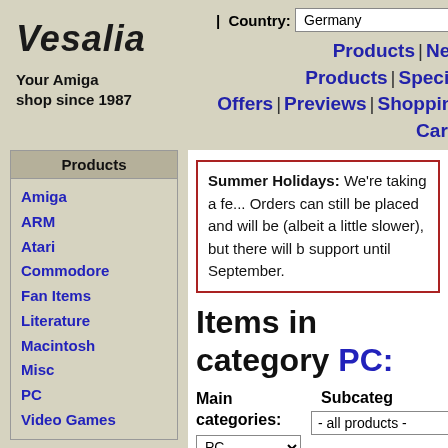Vesalia
Your Amiga shop since 1987
| Country: Germany
Products | New Products | Special Offers | Previews | Shopping Cart |
Products
Amiga
ARM
Atari
Commodore
Fan Items
Literature
Macintosh
Misc
PC
Video Games
Browse
Products
New Products
Special Offers
Clearance
Previews
Summer Holidays: We're taking a fe... Orders can still be placed and will be (albeit a little slower), but there will b support until September.
Items in category PC:
Main categories: PC
Subcategories: - all products -
Items 1-25 of 255
[1-25] [26-50] [51-75] [76-100] [101-125]